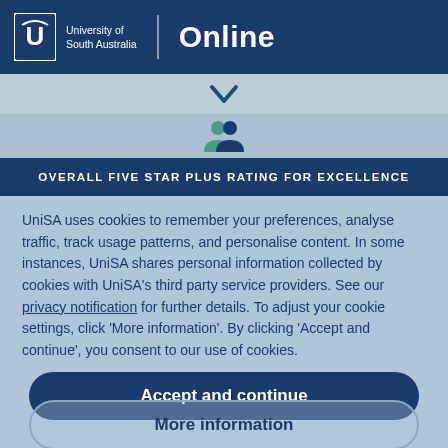[Figure (logo): University of South Australia Online logo with shield icon, white text on dark blue header bar]
[Figure (other): Light blue area with dark blue chevron/dropdown arrow and two person/people icons in teal]
OVERALL FIVE STAR PLUS RATING FOR EXCELLENCE
UniSA uses cookies to remember your preferences, analyse traffic, track usage patterns, and personalise content. In some instances, UniSA shares personal information collected by cookies with UniSA's third party service providers. See our privacy notification for further details. To adjust your cookie settings, click 'More information'. By clicking 'Accept and continue', you consent to our use of cookies.
Accept and continue
More information